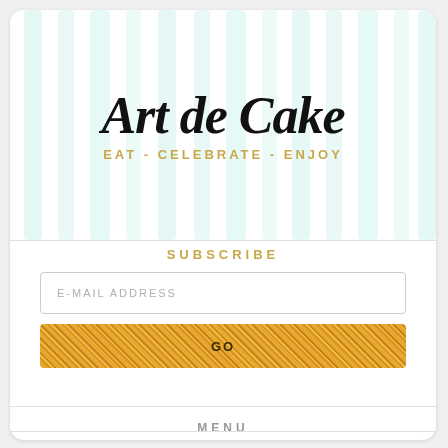Art de Cake
EAT - CELEBRATE - ENJOY
SUBSCRIBE
E-MAIL ADDRESS
GO
MENU
You are here: Home / biscuits and cookies / Award